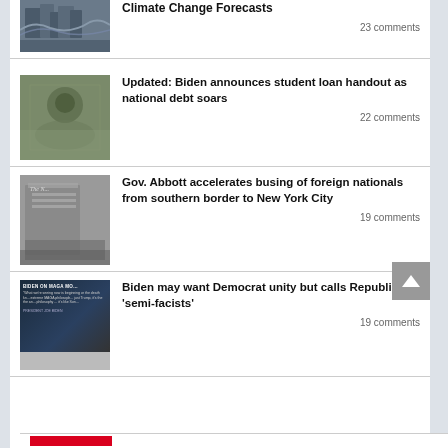Climate Change Forecasts
23 comments
[Figure (photo): Storm/industrial scene for Climate Change Forecasts article]
Updated: Biden announces student loan handout as national debt soars
22 comments
[Figure (photo): Person surrounded by money for student loan article]
Gov. Abbott accelerates busing of foreign nationals from southern border to New York City
19 comments
[Figure (photo): New York Times building exterior for Gov. Abbott article]
Biden may want Democrat unity but calls Republicans 'semi-facists'
19 comments
[Figure (screenshot): Biden on MAGA movement speech screenshot with text overlay]